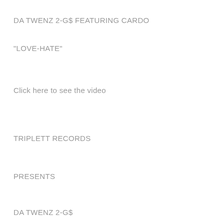DA TWENZ 2-G$ FEATURING CARDO
"LOVE-HATE"
Click here to see the video
TRIPLETT RECORDS
PRESENTS
DA TWENZ 2-G$